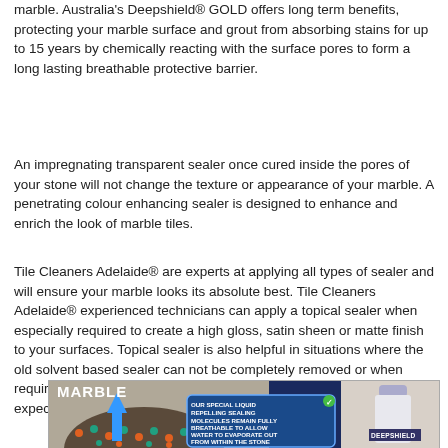marble. Australia's Deepshield® GOLD offers long term benefits, protecting your marble surface and grout from absorbing stains for up to 15 years by chemically reacting with the surface pores to form a long lasting breathable protective barrier.
An impregnating transparent sealer once cured inside the pores of your stone will not change the texture or appearance of your marble. A penetrating colour enhancing sealer is designed to enhance and enrich the look of marble tiles.
Tile Cleaners Adelaide® are experts at applying all types of sealer and will ensure your marble looks its absolute best. Tile Cleaners Adelaide® experienced technicians can apply a topical sealer when especially required to create a high gloss, satin sheen or matte finish to your surfaces. Topical sealer is also helpful in situations where the old solvent based sealer can not be completely removed or when required to hide certain types of damage. Topical sealer's have a life expectancy of 3-5 years.
[Figure (infographic): Deepshield marble sealer infographic showing 'MARBLE' label on stone surface, blue arrow indicating upward movement, teal/orange molecules, a blue info box reading 'OUR SPECIAL LIQUID REPELLING SEALING MOLECULES REMAIN FULLY BREATHABLE TO ALLOW WATER TO EVAPORATE OUT FROM WITHIN THE STONE', and a Deepshield product bottle on the right.]